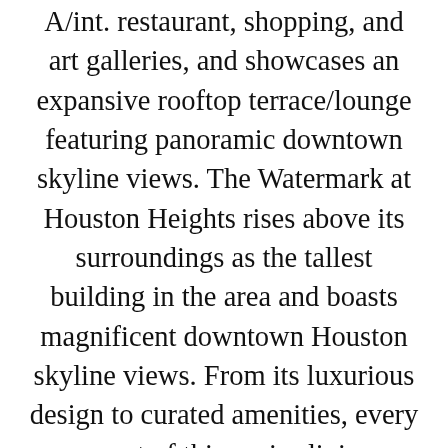A/int. restaurant, shopping, and art galleries, and showcases an expansive rooftop terrace/lounge featuring panoramic downtown skyline views. The Watermark at Houston Heights rises above its surroundings as the tallest building in the area and boasts magnificent downtown Houston skyline views. From its luxurious design to curated amenities, every aspect of this senior living community is supremely elevated.